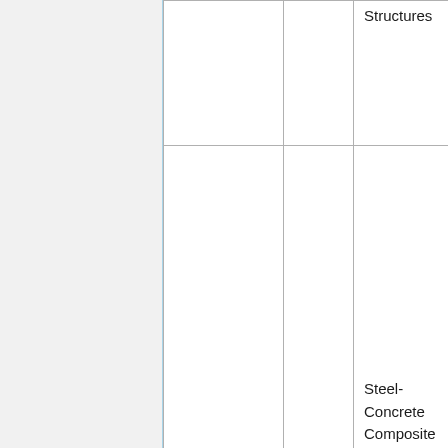|  |  | Structures |
| Han & Zhong | 1994 | Steel-Concrete Composite Structures |